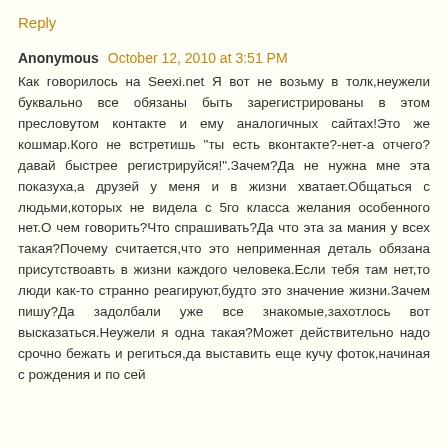Reply
Anonymous October 12, 2010 at 3:51 PM
Как говорилось на Seexi.net Я вот не возьму в толк,неужели буквально все обязаны быть зарегистрированы в этом пресловутом контакте и ему аналогичных сайтах!Это же кошмар.Кого не встретишь "ты есть вконтакте?-нет-а отчего?давай быстрее регистрируйся!".Зачем?Да не нужна мне эта показуха,а друзей у меня и в жизни хватает.Общаться с людьми,которых не видела с 5го класса желания особенного нет.О чем говорить?Что спрашивать?Да что эта за мания у всех такая?Почему считается,что это неприменная деталь обязана присутствоавть в жизни каждого человека.Если тебя там нет,то люди как-то странно реагируют,будто это значение жизни.Зачем пишу?Да задолбали уже все знакомые,захотлось вот высказаться.Неужели я одна такая?Может действительно надо срочно бежать и региться,да выставить еще кучу фоток,начиная с рождения и по сей